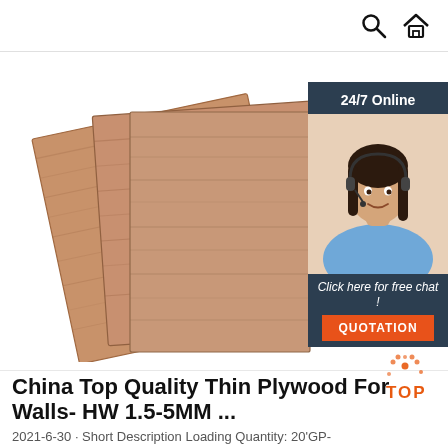Search / Home navigation icons
[Figure (photo): Product photo showing three overlapping plywood sheets with wood grain texture, warm brown/tan color. Alongside a chat widget banner with '24/7 Online' label, a female customer support agent photo wearing headset, text 'Click here for free chat !' and an orange 'QUOTATION' button.]
China Top Quality Thin Plywood For Walls- HW 1.5-5MM ...
2021-6-30 · Short Description Loading Quantity: 20'GP-